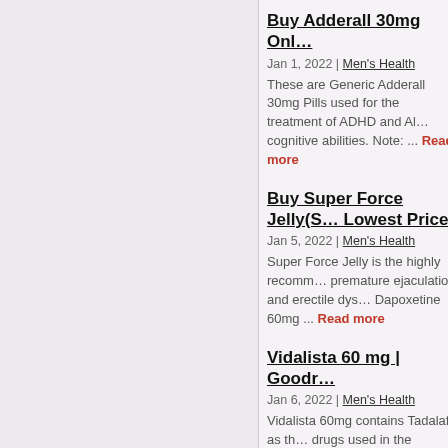Buy Adderall 30mg Onl…
Jan 1, 2022 | Men's Health
These are Generic Adderall 30mg Pills used for the treatment of ADHD and Al… cognitive abilities. Note: ... Read more
Buy Super Force Jelly(S… Lowest Price
Jan 5, 2022 | Men's Health
Super Force Jelly is the highly recomm… premature ejaculation and erectile dys… Dapoxetine 60mg ... Read more
Vidalista 60 mg | Goodr…
Jan 6, 2022 | Men's Health
Vidalista 60mg contains Tadalafil as th… drugs used in the treatment of ED or in… penile erection in ... Read more
Kamagra Oral Jelly Buy…
Jan 8, 2022 | Men's Health
Kamagra Oral Jelly is one among the f… of helplessness. Kamagra Jelly sachet… enclosed simply. It ... Read more
Apply Careprost And Fo…